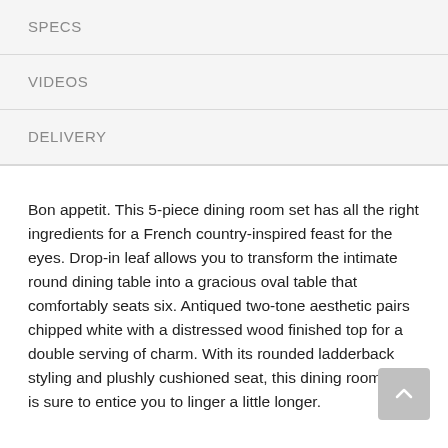SPECS
VIDEOS
DELIVERY
Bon appetit. This 5-piece dining room set has all the right ingredients for a French country-inspired feast for the eyes. Drop-in leaf allows you to transform the intimate round dining table into a gracious oval table that comfortably seats six. Antiqued two-tone aesthetic pairs chipped white with a distressed wood finished top for a double serving of charm. With its rounded ladderback styling and plushly cushioned seat, this dining room chair is sure to entice you to linger a little longer.